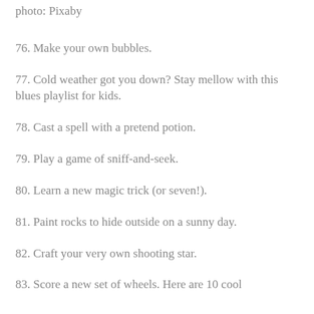photo: Pixaby
76. Make your own bubbles.
77. Cold weather got you down? Stay mellow with this blues playlist for kids.
78. Cast a spell with a pretend potion.
79. Play a game of sniff-and-seek.
80. Learn a new magic trick (or seven!).
81. Paint rocks to hide outside on a sunny day.
82. Craft your very own shooting star.
83. Score a new set of wheels. Here are 10 cool